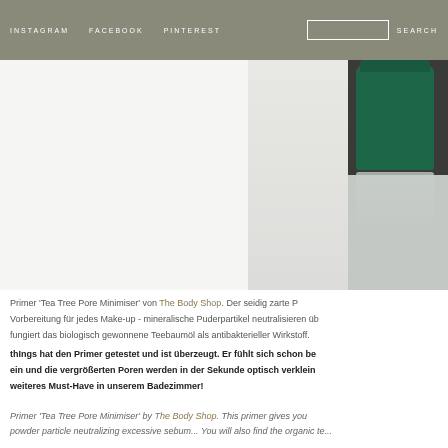INSTAGRAM   FACEBOOK   PINTEREST   SEARCH
[Figure (photo): Product photo area showing The Body Shop Tea Tree Pore Minimiser bottle on light background with gray and green sections]
Primer 'Tea Tree Pore Minimiser' von The Body Shop. Der seidig zarte P... Vorbereitung für jedes Make-up - mineralische Puderpartikel neutralisieren üb... fungiert das biologisch gewonnene Teebaumöl als antibakterieller Wirkstoff. thIngs hat den Primer getestet und ist überzeugt. Er fühlt sich schon be... ein und die vergrößerten Poren werden in der Sekunde optisch verklein... weiteres Must-Have in unserem Badezimmer!
Primer 'Tea Tree Pore Minimiser' by The Body Shop. This primer gives you... powder particle neutralizing excessive sebum... You will also find the organic te...